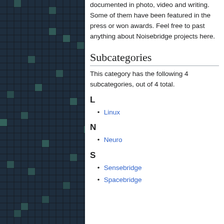[Figure (other): Dark grid/mosaic pattern background image on the left side of the page, consisting of small squares in dark blue and teal colors]
documented in photo, video and writing. Some of them have been featured in the press or won awards. Feel free to past anything about Noisebridge projects here.
Subcategories
This category has the following 4 subcategories, out of 4 total.
L
Linux
N
Neuro
S
Sensebridge
Spacebridge